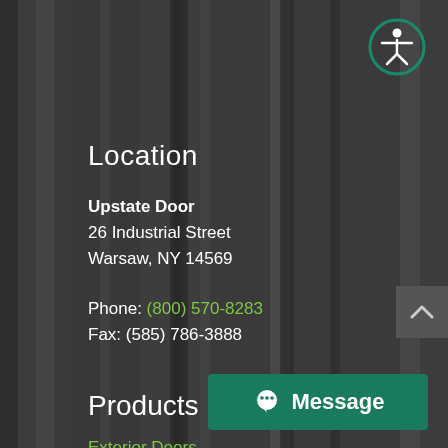[Figure (photo): Dark gray wood-grain textured door surface serving as background]
[Figure (illustration): Accessibility icon — white stick figure in circle on teal/green background, top right]
Location
Upstate Door
26 Industrial Street
Warsaw, NY 14569

Phone: (800) 570-8283
Fax: (585) 786-3888
Products
Exterior Doors
Interior Doors
Specialty Doors
Door Layouts
Door Materials & Options
Distinctive Doors
Classic Doors
[Figure (illustration): Dark gray scroll-to-top button with upward chevron arrow, right side]
[Figure (illustration): Green Message button with alien/chat icon at bottom right]